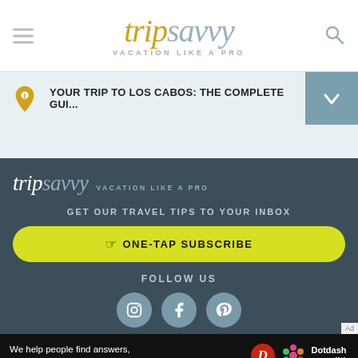tripsavvy VACATION LIKE A PRO
YOUR TRIP TO LOS CABOS: THE COMPLETE GUI...
[Figure (logo): TripSavvy logo with tagline VACATION LIKE A PRO on dark blue background]
GET OUR TRAVEL TIPS TO YOUR INBOX
ONE-TAP SUBSCRIBE
FOLLOW US
[Figure (infographic): Social media icons for Instagram, Facebook, Pinterest]
We help people find answers, solve problems and get inspired. Dotdash meredith